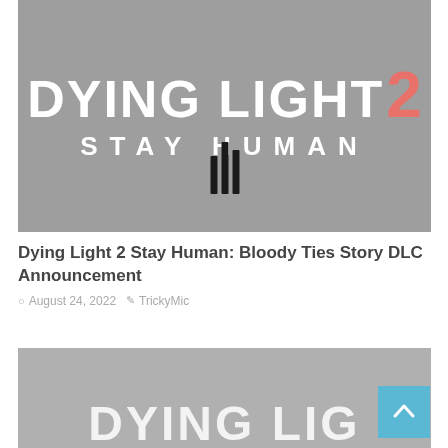[Figure (photo): Dying Light 2 Stay Human game logo on a gray background with three vertical bar icons at the bottom center. The logo shows 'DYING LIGHT' in large white bold letters with a red/coral '2' superscript, and 'STAY HUMAN' in white bold letters below.]
Dying Light 2 Stay Human: Bloody Ties Story DLC Announcement
August 24, 2022   TrickyMic
[Figure (photo): Partial screenshot of another game article thumbnail, also appearing to be Dying Light 2 related, showing partial logo text at bottom on a gray background.]